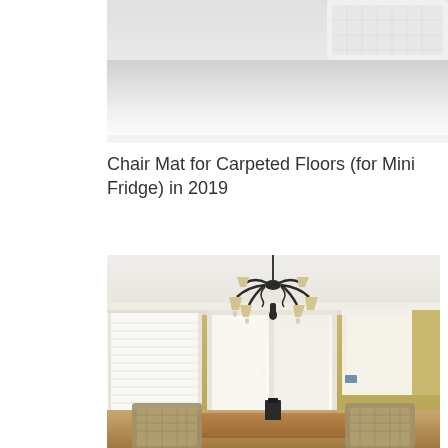[Figure (photo): Top portion of a product image showing a white ceiling-mounted object (likely a chair mat or appliance) on a light gray background.]
Chair Mat for Carpeted Floors (for Mini Fridge) in 2019
[Figure (photo): Interior dining room photo showing a wrought-iron chandelier with beige lamp shades hanging from a white ceiling with crown molding, yellow/gold walls, white French doors with window light, and a wooden dining table with wicker/rattan chairs.]